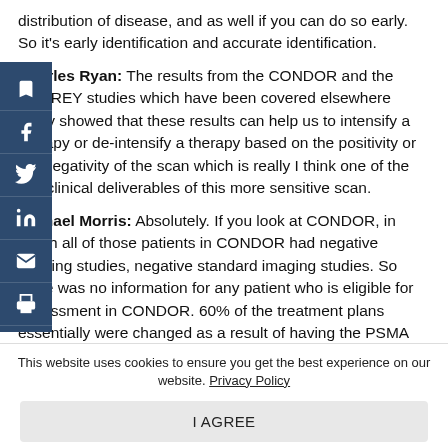distribution of disease, and as well if you can do so early. So it's early identification and accurate identification.
Charles Ryan: The results from the CONDOR and the OSPREY studies which have been covered elsewhere really showed that these results can help us to intensify a therapy or de-intensify a therapy based on the positivity or the negativity of the scan which is really I think one of the key clinical deliverables of this more sensitive scan.
Michael Morris: Absolutely. If you look at CONDOR, in which all of those patients in CONDOR had negative imaging studies, negative standard imaging studies. So there was no information for any patient who is eligible for assessment in CONDOR. 60% of the treatment plans essentially were changed as a result of having the PSMA PET. Now what's
This website uses cookies to ensure you get the best experience on our website. Privacy Policy
I AGREE